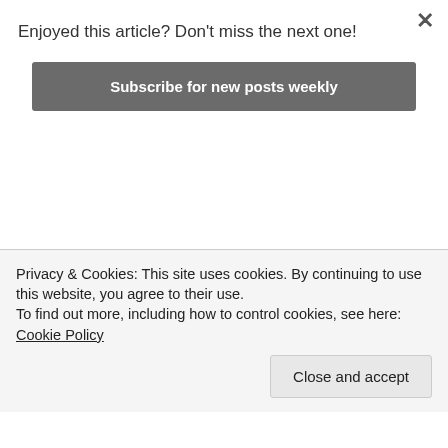Enjoyed this article? Don't miss the next one!
Subscribe for new posts weekly
surrounding environment as well. But you must change both to make your reference/grading environment match the optimal end-viewing conditions.
So if you only change the display gamma to 2.4 whilst working in a bright environment you would end up “grading lighter to make everything look correct to your eye”. But what you should do is make your gamma setting match your grading environment.
Privacy & Cookies: This site uses cookies. By continuing to use this website, you agree to their use.
To find out more, including how to control cookies, see here: Cookie Policy
Close and accept